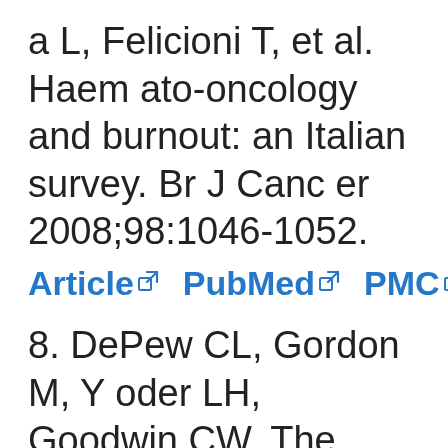a L, Felicioni T, et al. Haemato-oncology and burnout: an Italian survey. Br J Cancer 2008;98:1046-1052.
Article [link] PubMed [link] PMC [link]
8. DePew CL, Gordon M, Yoder LH, Goodwin CW. The relationship of burnout, stress, and hardiness in nurses in a military medical center: a replicated descriptive stu